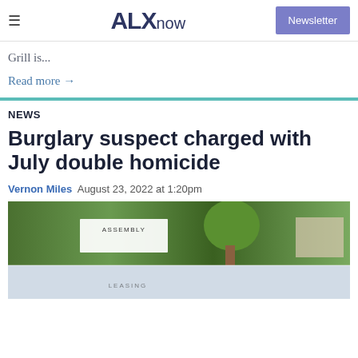ALXnow | Newsletter
Grill is...
Read more →
NEWS
Burglary suspect charged with July double homicide
Vernon Miles  August 23, 2022 at 1:20pm
[Figure (photo): Exterior photo showing an Assembly leasing sign with trees in the background, partially faded reflection below]